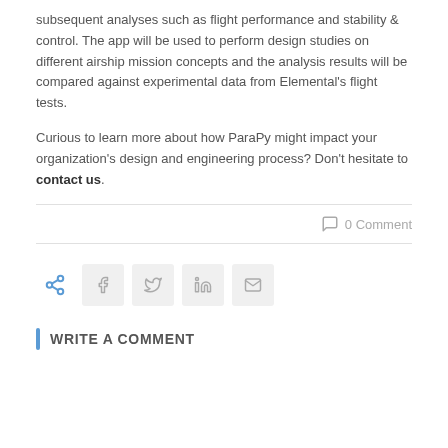subsequent analyses such as flight performance and stability & control. The app will be used to perform design studies on different airship mission concepts and the analysis results will be compared against experimental data from Elemental's flight tests.
Curious to learn more about how ParaPy might impact your organization's design and engineering process? Don't hesitate to contact us.
0 Comment
[Figure (other): Social share buttons row with share icon, Facebook, Twitter, LinkedIn, and email icons]
WRITE A COMMENT